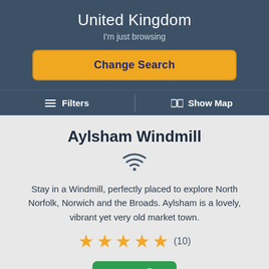United Kingdom
I'm just browsing
Change Search
≡ Filters
Show Map
Aylsham Windmill
Stay in a Windmill, perfectly placed to explore North Norfolk, Norwich and the Broads. Aylsham is a lovely, vibrant yet very old market town.
★★★★★ (10)
View